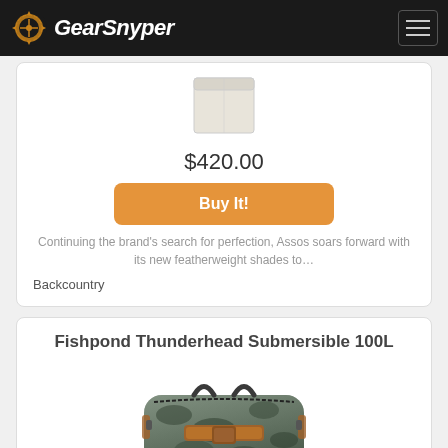GearSnyper
$420.00
Buy It!
Continuing the brand's search for perfection, Assos soars forward with its new featherweight shades to…
Backcountry
Fishpond Thunderhead Submersible 100L
[Figure (photo): Fishpond Thunderhead Submersible 100L duffel bag in camouflage/grey pattern with brown leather straps]
$399.95
Buy It!
You may already aware of this, but fish need clean